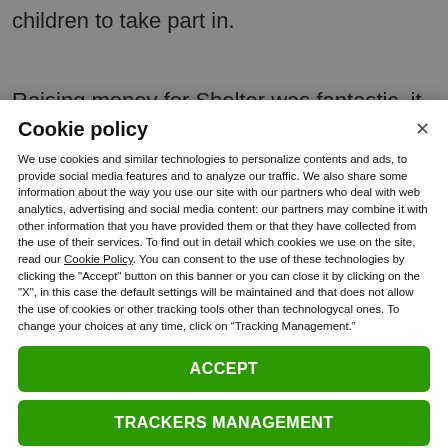children to take part in.
Raising money for Shelter was fantastic, it is such
Cookie policy
We use cookies and similar technologies to personalize contents and ads, to provide social media features and to analyze our traffic. We also share some information about the way you use our site with our partners who deal with web analytics, advertising and social media content: our partners may combine it with other information that you have provided them or that they have collected from the use of their services. To find out in detail which cookies we use on the site, read our Cookie Policy. You can consent to the use of these technologies by clicking the "Accept" button on this banner or you can close it by clicking on the "X", in this case the default settings will be maintained and that does not allow the use of cookies or other tracking tools other than technologycal ones. To change your choices at any time, click on “Tracking Management.”
ACCEPT
TRACKERS MANAGEMENT
Show vendors | Show purposes